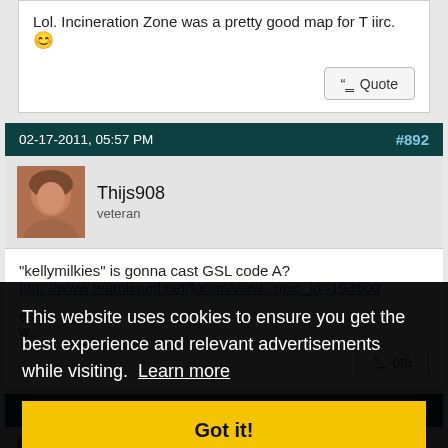Lol. Incineration Zone was a pretty good map for T iirc. 😊
Quote
02-17-2011, 05:57 PM   #892
Thijs908
veteran
"kellymilkies" is gonna cast GSL code A?
http://www.teamliquid.net/forum/view...opic_id=193600
esn't
w.
ote
#893
Inso0
This website uses cookies to ensure you get the best experience and relevant advertisements while visiting. Learn more
Got it!